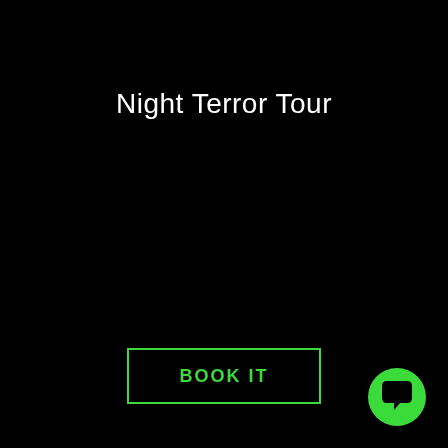Night Terror Tour
BOOK IT
[Figure (illustration): Green speech bubble / chat icon on a green circle background, positioned in the bottom-right corner]